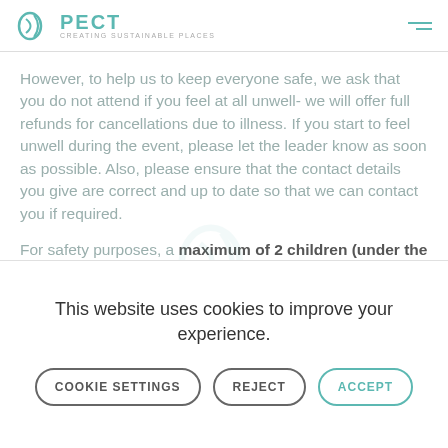PECT - Creating Sustainable Places
However, to help us to keep everyone safe, we ask that you do not attend if you feel at all unwell- we will offer full refunds for cancellations due to illness. If you start to feel unwell during the event, please let the leader know as soon as possible. Also, please ensure that the contact details you give are correct and up to date so that we can contact you if required.
For safety purposes, a maximum of 2 children (under the age of 12) can accompany one
This website uses cookies to improve your experience.
COOKIE SETTINGS   REJECT   ACCEPT